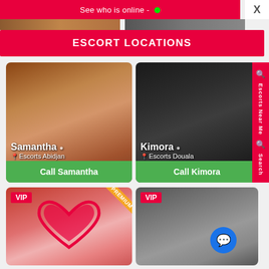See who is online - •
ESCORT LOCATIONS
[Figure (photo): Photo card of Samantha, escort in Abidjan, with Call Samantha button]
[Figure (photo): Photo card of Kimora, escort in Douala, with Call Kimora button]
[Figure (photo): VIP Premium card with heart overlay]
[Figure (photo): VIP card of escort]